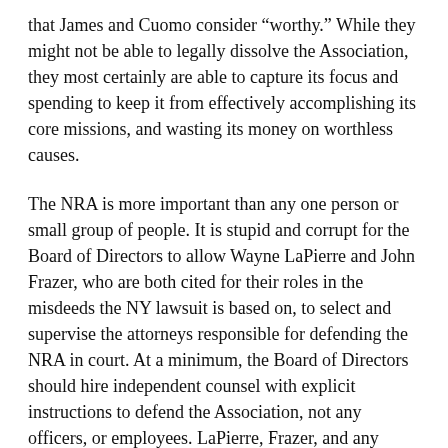that James and Cuomo consider "worthy." While they might not be able to legally dissolve the Association, they most certainly are able to capture its focus and spending to keep it from effectively accomplishing its core missions, and wasting its money on worthless causes.
The NRA is more important than any one person or small group of people. It is stupid and corrupt for the Board of Directors to allow Wayne LaPierre and John Frazer, who are both cited for their roles in the misdeeds the NY lawsuit is based on, to select and supervise the attorneys responsible for defending the NRA in court. At a minimum, the Board of Directors should hire independent counsel with explicit instructions to defend the Association, not any officers, or employees. LaPierre, Frazer, and any other NRA officers, employees, or contractors, should not even have a hint of control or management of those attorneys or their conduct of the case.